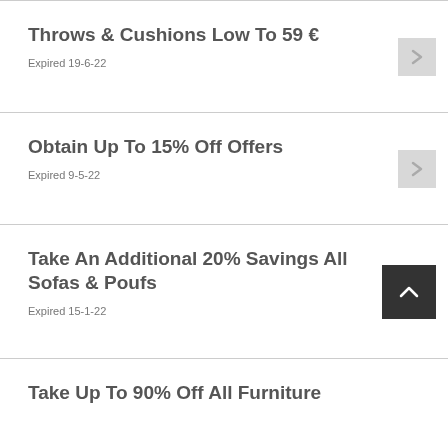Throws & Cushions Low To 59 €
Expired 19-6-22
Obtain Up To 15% Off Offers
Expired 9-5-22
Take An Additional 20% Savings All Sofas & Poufs
Expired 15-1-22
Take Up To 90% Off All Furniture